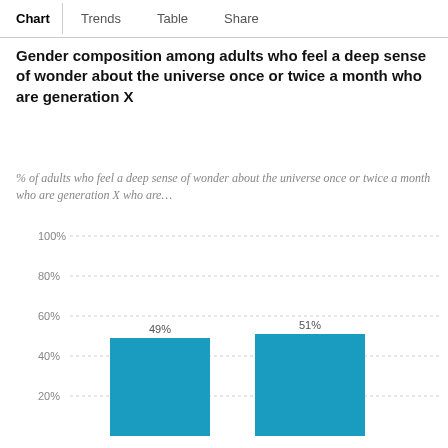Chart  Trends  Table  Share
Gender composition among adults who feel a deep sense of wonder about the universe once or twice a month who are generation X
% of adults who feel a deep sense of wonder about the universe once or twice a month who are generation X who are…
[Figure (bar-chart): ]